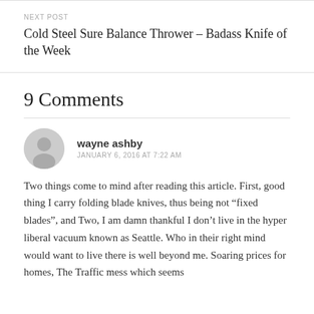NEXT POST
Cold Steel Sure Balance Thrower – Badass Knife of the Week
9 Comments
wayne ashby
JANUARY 6, 2016 AT 7:22 AM
Two things come to mind after reading this article. First, good thing I carry folding blade knives, thus being not “fixed blades”, and Two, I am damn thankful I don’t live in the hyper liberal vacuum known as Seattle. Who in their right mind would want to live there is well beyond me. Soaring prices for homes, The Traffic mess which seems